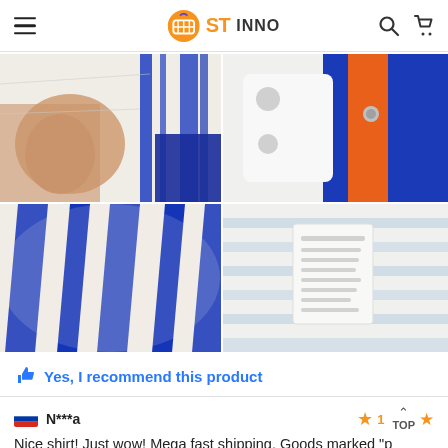ST INNO — navigation header with hamburger menu, logo, search and cart icons
[Figure (photo): Four product review photos of striped shirts arranged in a 2x2 grid. Top-left: hand holding white fabric with blue stripe near a dark pocket. Top-right: blue and orange striped fabric with a button/snap detail on white background. Bottom-left: close-up of white and blue striped fabric texture. Bottom-right: white label/tag on a white and light-blue striped garment.]
Yes, I recommend this product
N***a
Nice shirt! Just wow! Mega fast shipping. Goods marked "p
Ordered July 13, and August 01 The parcel was already at the post